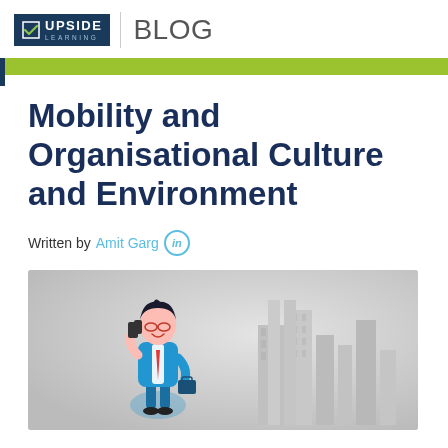UPSIDE LEARNING | BLOG
Mobility and Organisational Culture and Environment
Written by Amit Garg
[Figure (illustration): Cartoon illustration of a businessman in a blue suit talking on a mobile phone, standing in front of a city skyline, against a light grey gradient background.]